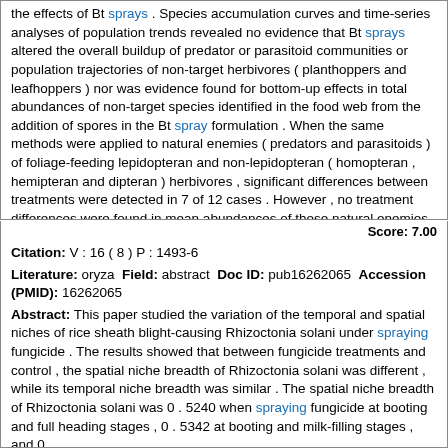the effects of Bt sprays . Species accumulation curves and time-series analyses of population trends revealed no evidence that Bt sprays altered the overall buildup of predator or parasitoid communities or population trajectories of non-target herbivores ( planthoppers and leafhoppers ) nor was evidence found for bottom-up effects in total abundances of non-target species identified in the food web from the addition of spores in the Bt spray formulation . When the same methods were applied to natural enemies ( predators and parasitoids ) of foliage-feeding lepidopteran and non-lepidopteran ( homopteran , hemipteran and dipteran ) herbivores , significant differences between treatments were detected in 7 of 12 cases . However , no treatment differences were found in mean abundances of these natural enemies , either in time-series plots or in total ( seasonal ) abundance . Analysis of guild-level trajectories revealed population behavior and treatment differences that could not be predicted in whole-community studies of predators and parasitoids . A more conclusive test of the impact of Bt rice will require field experiments with transgenic plants , conducted in a range of Asian environments , and over multiple cropping seasons .
Score: 7.00
Citation: V : 16 ( 8 ) P : 1493-6
Literature: oryza Field: abstract Doc ID: pub16262065 Accession (PMID): 16262065
Abstract: This paper studied the variation of the temporal and spatial niches of rice sheath blight-causing Rhizoctonia solani under spraying fungicide . The results showed that between fungicide treatments and control , the spatial niche breadth of Rhizoctonia solani was different , while its temporal niche breadth was similar . The spatial niche breadth of Rhizoctonia solani was 0 . 5240 when spraying fungicide at booting and full heading stages , 0 . 5342 at booting and milk-filling stages , and 0 .